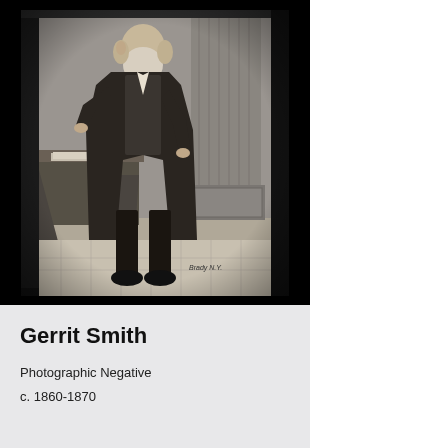[Figure (photo): Black and white photographic negative of Gerrit Smith, a bearded older man in a dark suit standing with one hand on his hip and the other resting at his side, posed in a studio with a column and draped table. Photographer's mark 'Brady N.Y.' visible in lower right of image.]
Gerrit Smith
Photographic Negative
c. 1860-1870